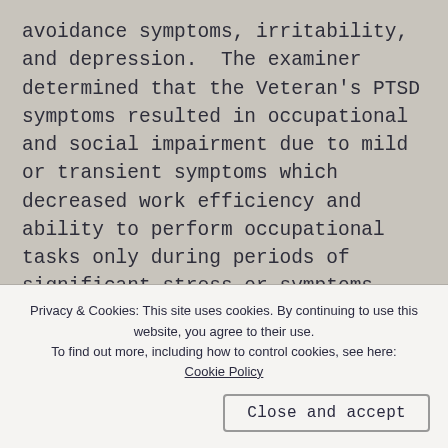avoidance symptoms, irritability, and depression.  The examiner determined that the Veteran's PTSD symptoms resulted in occupational and social impairment due to mild or transient symptoms which decreased work efficiency and ability to perform occupational tasks only during periods of significant stress or symptoms controlled by medication. The Veteran underwent another VA
Privacy & Cookies: This site uses cookies. By continuing to use this website, you agree to their use.
To find out more, including how to control cookies, see here:
Cookie Policy
Close and accept